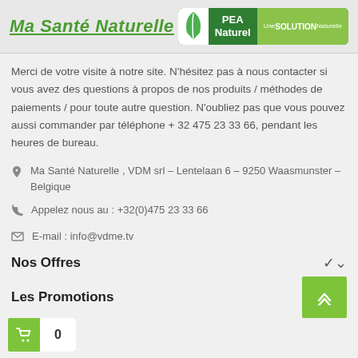Ma Santé Naturelle | PEA Naturel — Une SOLUTION Naturelle
Merci de votre visite à notre site. N'hésitez pas à nous contacter si vous avez des questions à propos de nos produits / méthodes de paiements / pour toute autre question. N'oubliez pas que vous pouvez aussi commander par téléphone + 32 475 23 33 66, pendant les heures de bureau.
Ma Santé Naturelle , VDM srl – Lentelaan 6 – 9250 Waasmunster – Belgique
Appelez nous au : +32(0)475 23 33 66
E-mail : info@vdme.tv
Nos Offres
Les Promotions